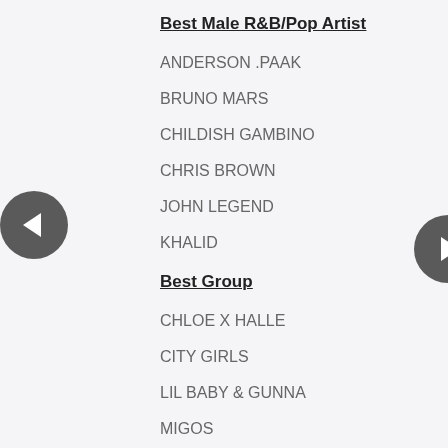Best Male R&B/Pop Artist
ANDERSON .PAAK
BRUNO MARS
CHILDISH GAMBINO
CHRIS BROWN
JOHN LEGEND
KHALID
Best Group
CHLOE X HALLE
CITY GIRLS
LIL BABY & GUNNA
MIGOS